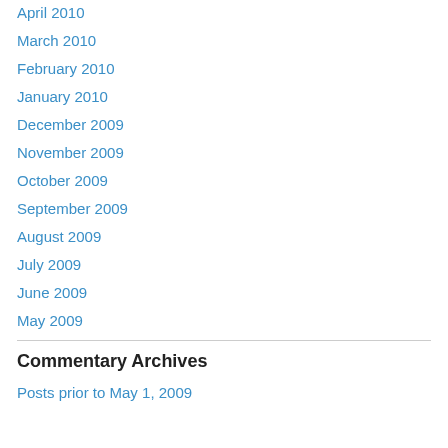April 2010
March 2010
February 2010
January 2010
December 2009
November 2009
October 2009
September 2009
August 2009
July 2009
June 2009
May 2009
Commentary Archives
Posts prior to May 1, 2009